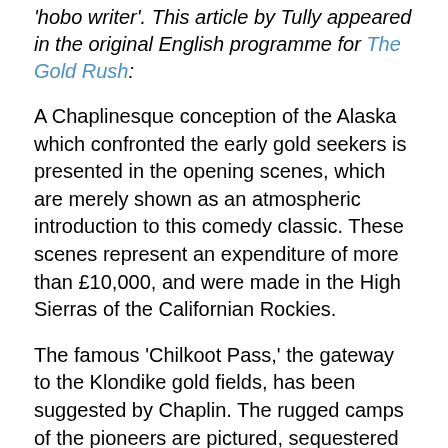'hobo writer'. This article by Tully appeared in the original English programme for The Gold Rush:
A Chaplinesque conception of the Alaska which confronted the early gold seekers is presented in the opening scenes, which are merely shown as an atmospheric introduction to this comedy classic. These scenes represent an expenditure of more than £10,000, and were made in the High Sierras of the Californian Rockies.
The famous 'Chilkoot Pass,' the gateway to the Klondike gold fields, has been suggested by Chaplin. The rugged camps of the pioneers are pictured, sequestered at the base of frozen cliffs. To make the pass, a pathway 2,300 feet long was cut through the snows, rising to an ascent of 1,000 feet at an elevation of 9,850 feet. Winding through a narrow defile to the top of Mount Lincoln, the pass